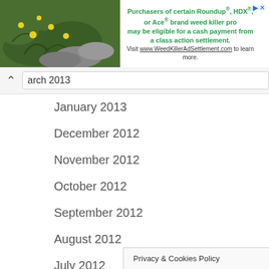[Figure (screenshot): Advertisement banner with plant/flower background image on the left and text about Roundup weed killer class action settlement on the right]
arch 2013
January 2013
December 2012
November 2012
October 2012
September 2012
August 2012
July 2012
June 2012
May 2012
April 2012
March 2012
February 2012
Privacy & Cookies Policy